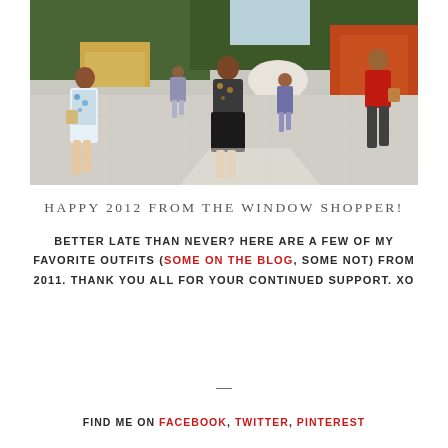[Figure (photo): Outdoor plaza scene with several people walking. A woman in a floral dress on the left, a woman in a black skirt and patterned top in the center, another figure in the background, and a woman in a red top on the right. Background features trees, a yellow building, and a white dome-like structure.]
HAPPY 2012 FROM THE WINDOW SHOPPER!
BETTER LATE THAN NEVER? HERE ARE A FEW OF MY FAVORITE OUTFITS (SOME ON THE BLOG, SOME NOT) FROM 2011. THANK YOU ALL FOR YOUR CONTINUED SUPPORT. XO
—
FIND ME ON FACEBOOK, TWITTER, PINTEREST